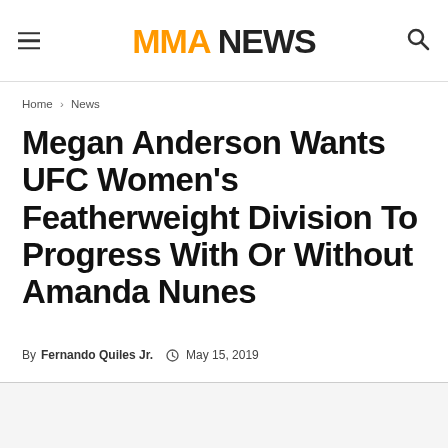MMA NEWS
Home › News
Megan Anderson Wants UFC Women's Featherweight Division To Progress With Or Without Amanda Nunes
By Fernando Quiles Jr.  May 15, 2019